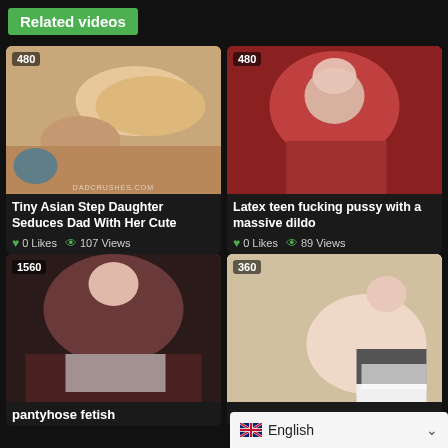Related videos
[Figure (screenshot): Video thumbnail 1 - 480p badge]
Tiny Asian Step Daughter Seduces Dad With Her Cute
0 Likes  107 Views
[Figure (screenshot): Video thumbnail 2 - 480p badge]
Latex teen fucking pussy with a massive dildo
0 Likes  89 Views
[Figure (screenshot): Video thumbnail 3 - 1560 badge]
pantyhose fetish
[Figure (screenshot): Video thumbnail 4 - 360p badge]
English